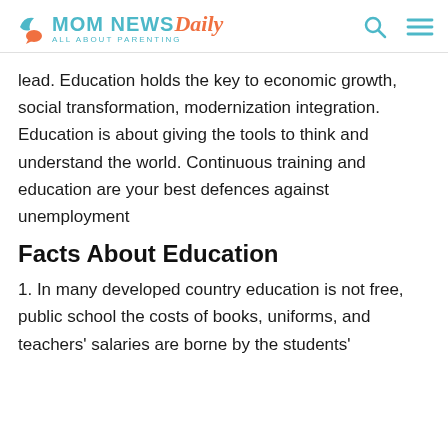MOM NEWS Daily — ALL ABOUT PARENTING
lead. Education holds the key to economic growth, social transformation, modernization integration. Education is about giving the tools to think and understand the world. Continuous training and education are your best defences against unemployment
Facts About Education
1. In many developed country education is not free, public school the costs of books, uniforms, and teachers' salaries are borne by the students' families